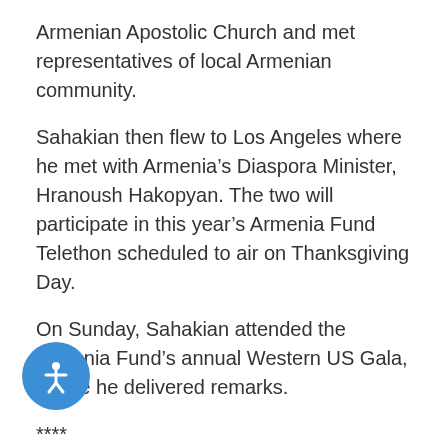Armenian Apostolic Church and met representatives of local Armenian community.
Sahakian then flew to Los Angeles where he met with Armenia’s Diaspora Minister, Hranoush Hakopyan. The two will participate in this year’s Armenia Fund Telethon scheduled to air on Thanksgiving Day.
On Sunday, Sahakian attended the Armenia Fund’s annual Western US Gala, where he delivered remarks.
****
Below is the translated text of Sahakian’s speech, delivered at the gala:
Respected compatriots, Dear friends, Ladies and Gentlemen,
I am very much happy to have an opportunity to welcome